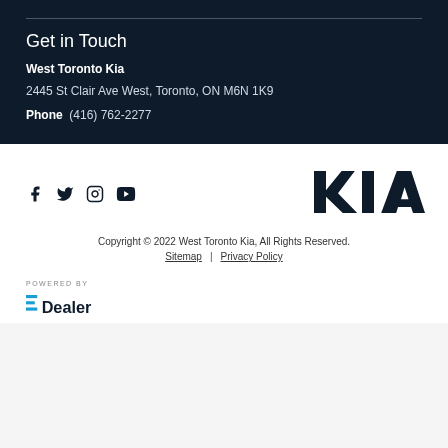Get in Touch
West Toronto Kia
2445 St Clair Ave West, Toronto, ON M6N 1K9
Phone  (416) 762-2277
[Figure (logo): Social media icons: Facebook, Twitter, Instagram, YouTube]
[Figure (logo): KIA logo in dark navy]
Copyright © 2022 West Toronto Kia, All Rights Reserved.
Sitemap | Privacy Policy
[Figure (logo): POWERED BY EDealer logo]